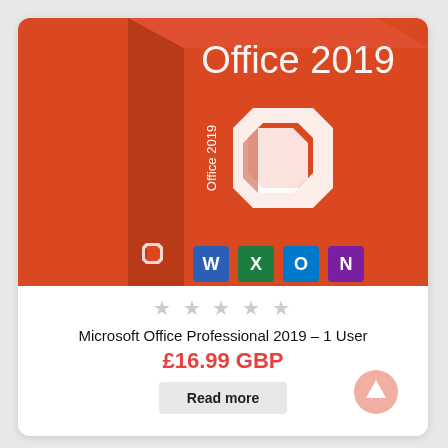[Figure (photo): Microsoft Office Professional 2019 product box with red background showing the Office logo and application icons at the bottom]
★★★★★
Microsoft Office Professional 2019 – 1 User
£16.99 GBP
Read more